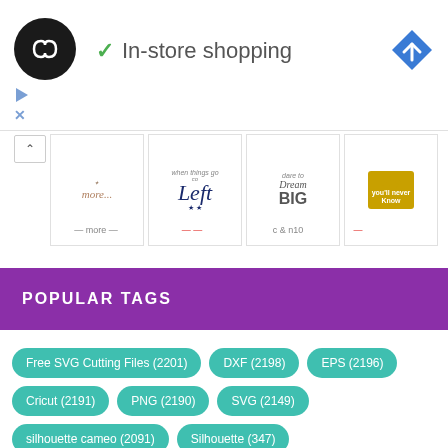[Figure (logo): Dark circular logo with two overlapping infinity/arrow symbols in white, representing a brand or app icon]
✓ In-store shopping
[Figure (logo): Blue diamond-shaped navigation/directions icon with a white right-turn arrow]
[Figure (illustration): Horizontal strip of craft/SVG design thumbnails including decorative text designs: 'go Left', 'Dream BIG', 'Try you'll Never Know', and decorative script images. Below each is a price or tag label.]
POPULAR TAGS
Free SVG Cutting Files (2201)
DXF (2198)
EPS (2196)
Cricut (2191)
PNG (2190)
SVG (2149)
silhouette cameo (2091)
Silhouette (347)
Monogram (327)
Heart (120)